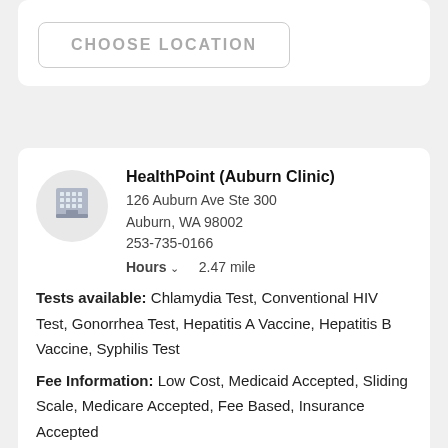CHOOSE LOCATION
HealthPoint (Auburn Clinic)
126 Auburn Ave Ste 300
Auburn, WA 98002
253-735-0166
Hours  2.47 mile
Tests available: Chlamydia Test, Conventional HIV Test, Gonorrhea Test, Hepatitis A Vaccine, Hepatitis B Vaccine, Syphilis Test
Fee Information: Low Cost, Medicaid Accepted, Sliding Scale, Medicare Accepted, Fee Based, Insurance Accepted